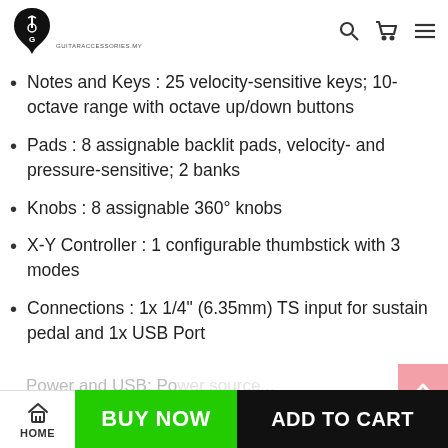Guitar Accessories MY - logo and navigation icons
Notes and Keys : 25 velocity-sensitive keys; 10-octave range with octave up/down buttons
Pads : 8 assignable backlit pads, velocity- and pressure-sensitive; 2 banks
Knobs : 8 assignable 360° knobs
X-Y Controller : 1 configurable thumbstick with 3 modes
Connections : 1x 1/4" (6.35mm) TS input for sustain pedal and 1x USB Port
HOME | BUY NOW | ADD TO CART